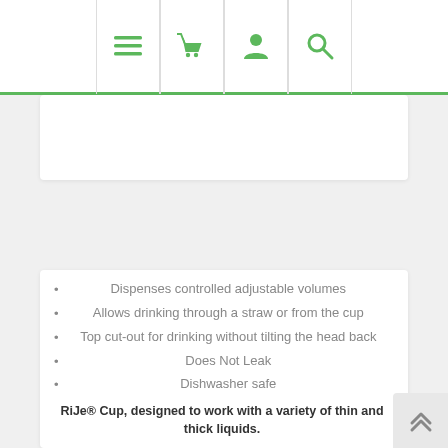Navigation bar with menu, basket, user, and search icons
Dispenses controlled adjustable volumes
Allows drinking through a straw or from the cup
Top cut-out for drinking without tilting the head back
Does Not Leak
Dishwasher safe
RiJe® Cup, designed to work with a variety of thin and thick liquids.